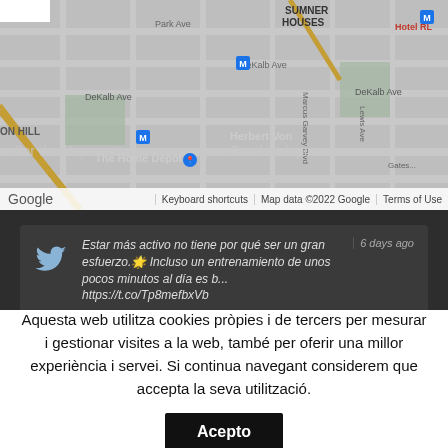[Figure (map): Google Maps screenshot showing streets near The Home Depot, DeKalb Ave, Herbert Von, Sumner Houses area. Includes 'For development purposes only' watermark. Shows metro (M) markers, Park Ave, Marcus Garvey Blvd, Lewis Ave, Gates Ave labels.]
[Figure (screenshot): Twitter card on dark background showing tweet: 'Estar más activo no tiene por qué ser un gran esfuerzo. Incluso un entrenamiento de unos pocos minutos al día es b... https://t.co/Tp8mefbxVb' with timestamp '6 days ago']
Aquesta web utilitza cookies pròpies i de tercers per mesurar i gestionar visites a la web, també per oferir una millor experiència i servei. Si continua navegant considerem que accepta la seva utilització.
Acepto